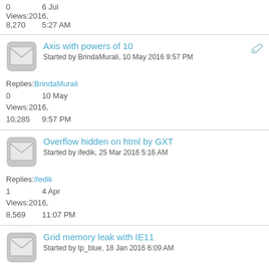Replies: 0   Views: 8,270   6 Jul 2016, 5:27 AM
Axis with powers of 10 - Started by BrindaMurali, 10 May 2016 9:57 PM
Replies: BrindaMurali   0   10 May   Views: 2016,   10,285   9:57 PM
Overflow hidden on html by GXT - Started by ifedik, 25 Mar 2016 5:16 AM
Replies: ifedik   1   4 Apr   Views: 2016,   8,569   11:07 PM
Grid memory leak with IE11 - Started by tp_blue, 18 Jan 2016 6:09 AM
Replies: tp_blue